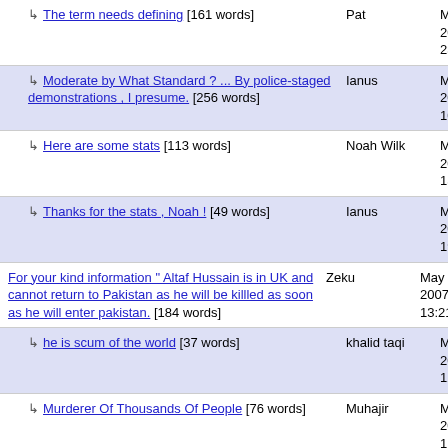↳ The term needs defining [161 words] — Pat — May 8, 2007 23:09
↳ Moderate by What Standard ? ... By police-staged demonstrations , I presume. [256 words] — Ianus — May 9, 2007 10:13
↳ Here are some stats [113 words] — Noah Wilk — May 10, 2007 15:13
↳ Thanks for the stats , Noah ! [49 words] — Ianus — May 10, 2007 19:39
For your kind information " Altaf Hussain is in UK and cannot return to Pakistan as he will be killled as soon as he will enter pakistan. [184 words] — Zeku — May 8, 2007 13:21
↳ he is scum of the world [37 words] — khalid taqi — May 12, 2007 12:33
↳ Murderer Of Thousands Of People [76 words] — Muhajir — May 20, 2007 11:10